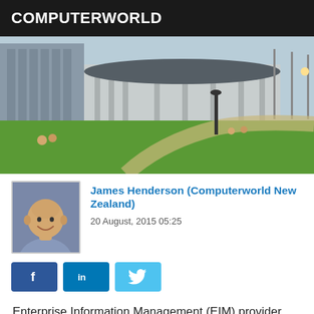COMPUTERWORLD
[Figure (photo): Hero image of a modern government building with green lawn, a curved pathway, and people sitting on the grass. Taken on a sunny day.]
[Figure (photo): Headshot of James Henderson, a bald man smiling, wearing a light blue shirt.]
James Henderson (Computerworld New Zealand)
20 August, 2015 05:25
[Figure (other): Social sharing buttons: Facebook (f), LinkedIn (in), Twitter (bird icon)]
Enterprise Information Management (EIM) provider OpenText has been selected and deployed by the Ministry for the Environment (MfE) in New Zealand to fuel the government agency's knowledge